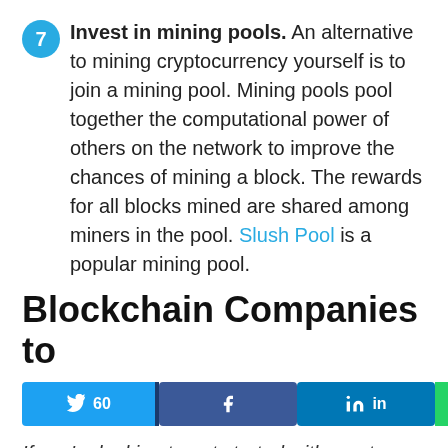Invest in mining pools. An alternative to mining cryptocurrency yourself is to join a mining pool. Mining pools pool together the computational power of others on the network to improve the chances of mining a block. The rewards for all blocks mined are shared among miners in the pool. Slush Pool is a popular mining pool.
Blockchain Companies to
[Figure (other): Social sharing bar with Twitter (60 shares), Facebook, LinkedIn, WhatsApp buttons and an up/scroll button]
If you're looking to get started with crypto investing, we've created a comprehensive step-